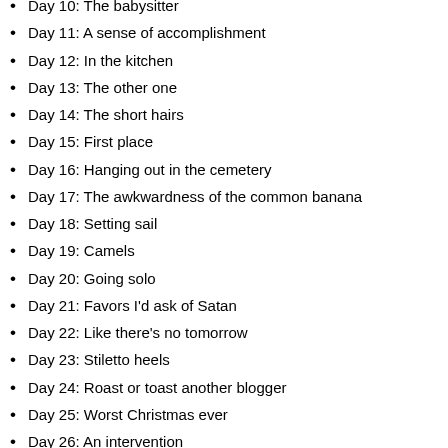Day 10: The babysitter
Day 11: A sense of accomplishment
Day 12: In the kitchen
Day 13: The other one
Day 14: The short hairs
Day 15: First place
Day 16: Hanging out in the cemetery
Day 17: The awkwardness of the common banana
Day 18: Setting sail
Day 19: Camels
Day 20: Going solo
Day 21: Favors I'd ask of Satan
Day 22: Like there's no tomorrow
Day 23: Stiletto heels
Day 24: Roast or toast another blogger
Day 25: Worst Christmas ever
Day 26: An intervention
Day 27: Side of the road
Day 28: The turning point
Day 29: Breaking the rules
Day 30: It could have been worse